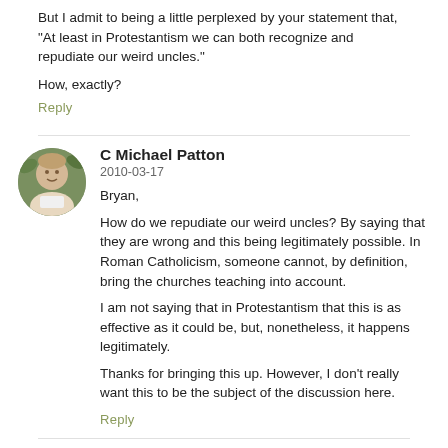But I admit to being a little perplexed by your statement that, “At least in Protestantism we can both recognize and repudiate our weird uncles.”
How, exactly?
Reply
C Michael Patton
2010-03-17
Bryan,
How do we repudiate our weird uncles? By saying that they are wrong and this being legitimately possible. In Roman Catholicism, someone cannot, by definition, bring the churches teaching into account.
I am not saying that in Protestantism that this is as effective as it could be, but, nonetheless, it happens legitimately.
Thanks for bringing this up. However, I don’t really want this to be the subject of the discussion here.
Reply
Susan
2010-03-17
[Figure (other): Social media share buttons: Facebook (blue f) and Twitter (blue bird icon)]